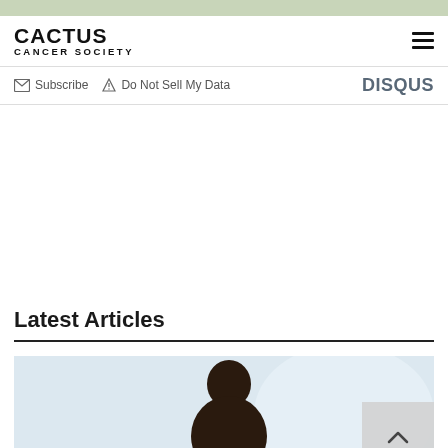CACTUS CANCER SOCIETY
Subscribe  Do Not Sell My Data  DISQUS
Latest Articles
[Figure (photo): A person photographed from head/shoulders up, shown against a light background. Part of a Latest Articles section on the Cactus Cancer Society website.]